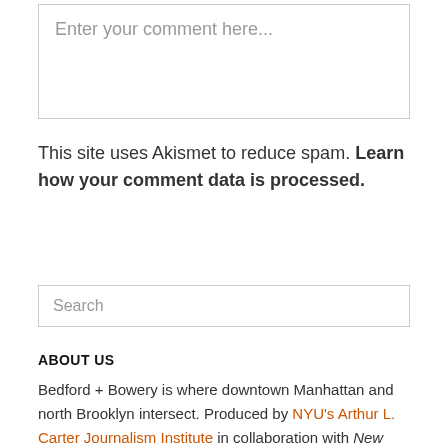Enter your comment here...
This site uses Akismet to reduce spam. Learn how your comment data is processed.
Search
ABOUT US
Bedford + Bowery is where downtown Manhattan and north Brooklyn intersect. Produced by NYU's Arthur L. Carter Journalism Institute in collaboration with New York magazine, B + B covers the East Village, Lower East Side, Williamsburg, Greenpoint, Bushwick, and beyond.
FOLLOW US